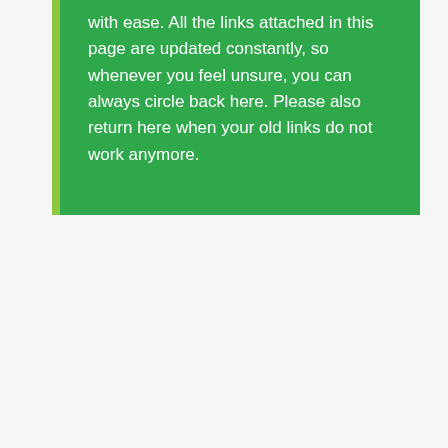with ease. All the links attached in this page are updated constantly, so whenever you feel unsure, you can always circle back here. Please also return here when your old links do not work anymore.